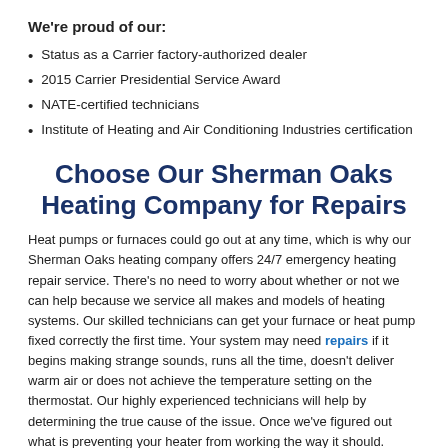We're proud of our:
Status as a Carrier factory-authorized dealer
2015 Carrier Presidential Service Award
NATE-certified technicians
Institute of Heating and Air Conditioning Industries certification
Choose Our Sherman Oaks Heating Company for Repairs
Heat pumps or furnaces could go out at any time, which is why our Sherman Oaks heating company offers 24/7 emergency heating repair service. There's no need to worry about whether or not we can help because we service all makes and models of heating systems. Our skilled technicians can get your furnace or heat pump fixed correctly the first time. Your system may need repairs if it begins making strange sounds, runs all the time, doesn't deliver warm air or does not achieve the temperature setting on the thermostat. Our highly experienced technicians will help by determining the true cause of the issue. Once we've figured out what is preventing your heater from working the way it should. Then, we'll give you our honest recommendation to get it fixed.
Installation Services by Our